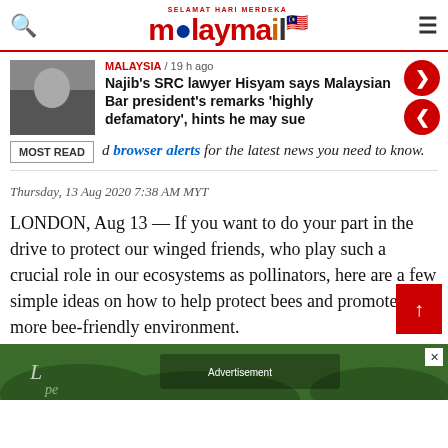Malay Mail — SELAMAT HARI MERDEKA
MALAYSIA / 19 h ago
Najib's SRC lawyer Hisyam says Malaysian Bar president's remarks 'highly defamatory', hints he may sue
MOST READ  d browser alerts for the latest news you need to know.
Thursday, 13 Aug 2020 7:38 AM MYT
LONDON, Aug 13 — If you want to do your part in the drive to protect our winged friends, who play such a crucial role in our ecosystems as pollinators, here are a few simple ideas on how to help protect bees and promote a more bee-friendly environment.
[Figure (photo): Advertisement banner with green grass background]